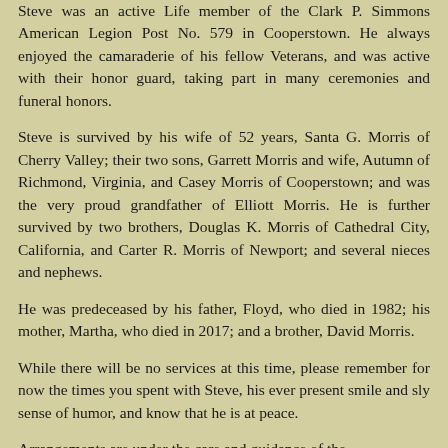Steve was an active Life member of the Clark P. Simmons American Legion Post No. 579 in Cooperstown. He always enjoyed the camaraderie of his fellow Veterans, and was active with their honor guard, taking part in many ceremonies and funeral honors.
Steve is survived by his wife of 52 years, Santa G. Morris of Cherry Valley; their two sons, Garrett Morris and wife, Autumn of Richmond, Virginia, and Casey Morris of Cooperstown; and was the very proud grandfather of Elliott Morris. He is further survived by two brothers, Douglas K. Morris of Cathedral City, California, and Carter R. Morris of Newport; and several nieces and nephews.
He was predeceased by his father, Floyd, who died in 1982; his mother, Martha, who died in 2017; and a brother, David Morris.
While there will be no services at this time, please remember for now the times you spent with Steve, his ever present smile and sly sense of humor, and know that he is at peace.
Arrangements are under the care and guidance of the